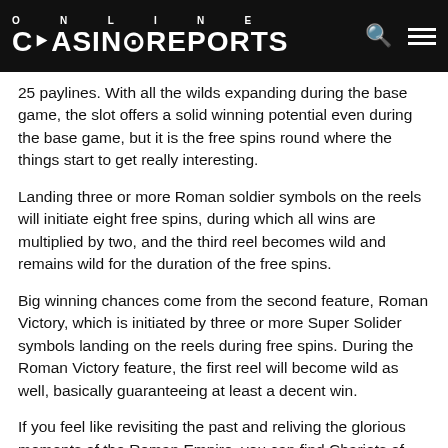ONLINE CASINOREPORTS
25 paylines. With all the wilds expanding during the base game, the slot offers a solid winning potential even during the base game, but it is the free spins round where the things start to get really interesting.
Landing three or more Roman soldier symbols on the reels will initiate eight free spins, during which all wins are multiplied by two, and the third reel becomes wild and remains wild for the duration of the free spins.
Big winning chances come from the second feature, Roman Victory, which is initiated by three or more Super Solider symbols landing on the reels during free spins. During the Roman Victory feature, the first reel will become wild as well, basically guaranteeing at least a decent win.
If you feel like revisiting the past and reliving the glorious moments of the Roman Empire, you can find Chariots of Fire featured at a number of online casinos powered by Rival, like Vegas Crest Casino and SlotsMillion Casino